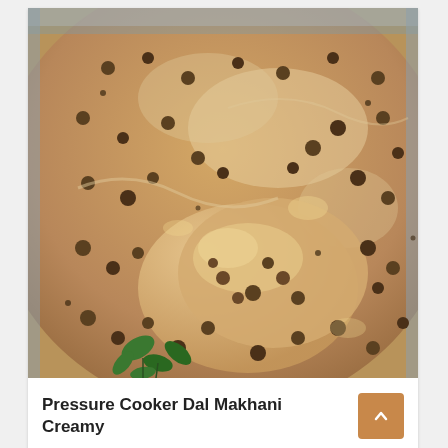[Figure (photo): Close-up photo of Dal Makhani in a pressure cooker — a creamy, beige-brown lentil curry with whole black lentils and fresh cilantro garnish visible at the bottom left. A large spoon rests in the dish.]
Pressure Cooker Dal Makhani Creamy